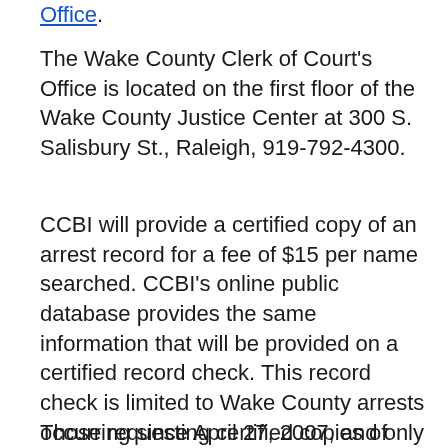Office.
The Wake County Clerk of Court's Office is located on the first floor of the Wake County Justice Center at 300 S. Salisbury St., Raleigh, 919-792-4300.
CCBI will provide a certified copy of an arrest record for a fee of $15 per name searched. CCBI's online public database provides the same information that will be provided on a certified record check. This record check is limited to Wake County arrests occurring since April 27, 2007, and only for offenses determined to be fingerprintable by North Carolina General Statutes.
Those requesting certified copies of arrest records